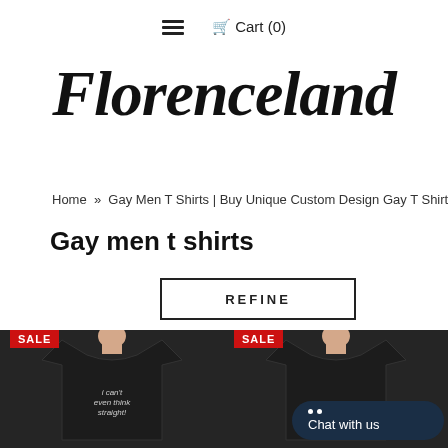☰  🛒 Cart (0)
Florenceland
Home » Gay Men T Shirts | Buy Unique Custom Design Gay T Shirts Online
Gay men t shirts
REFINE
[Figure (photo): Black t-shirt with text 'i can't even think straight!' with SALE badge]
[Figure (photo): Black t-shirt product with SALE badge and 'Chat with us' bubble overlay]